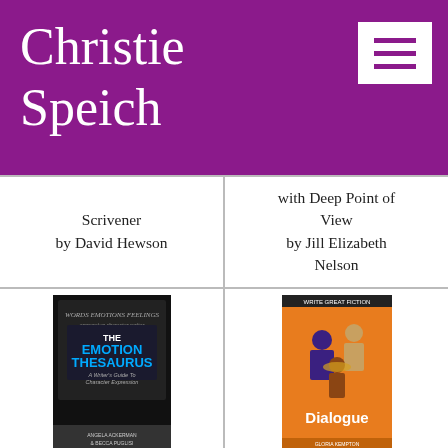Christie Speich
Scrivener by David Hewson
with Deep Point of View by Jill Elizabeth Nelson
[Figure (photo): Book cover of The Emotion Thesaurus: A Writer's Guide To Character Expression by Angela Ackerman & Becca Puglisi]
The Emotion Thesaurus by Angela Ackerman,
[Figure (photo): Book cover of Dialogue: Techniques and Exercises for Crafting Effective Dialogue by Gloria Kempton]
Dialogue: Techniques and Exercises for